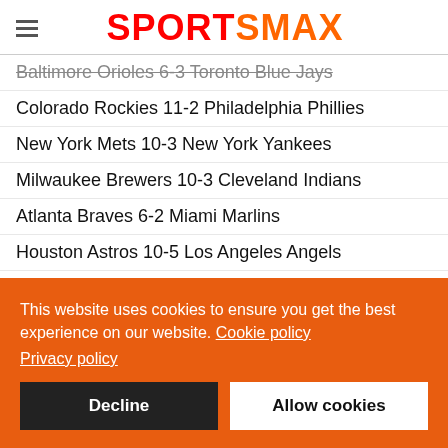SPORTSMAX
Baltimore Orioles 6-3 Toronto Blue Jays
Colorado Rockies 11-2 Philadelphia Phillies
New York Mets 10-3 New York Yankees
Milwaukee Brewers 10-3 Cleveland Indians
Atlanta Braves 6-2 Miami Marlins
Houston Astros 10-5 Los Angeles Angels
Kansas City Royals 6-4 Minnesota Twins
Chicago White Sox 4-3 Boston Red Sox
Cincinnati Reds 4-2 St Louis Cardinals
This website uses cookies to ensure you get the best experience on our website. Cookie policy Privacy policy
Decline | Allow cookies